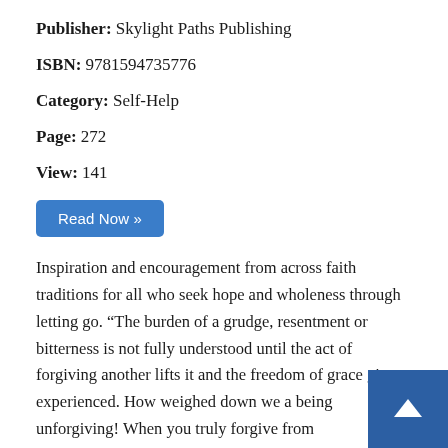Publisher: Skylight Paths Publishing
ISBN: 9781594735776
Category: Self-Help
Page: 272
View: 141
Read Now »
Inspiration and encouragement from across faith traditions for all who seek hope and wholeness through letting go. "The burden of a grudge, resentment or bitterness is not fully understood until the act of forgiving another lifts it and the freedom of grace given experienced. How weighed down we a being unforgiving! When you truly forgive from